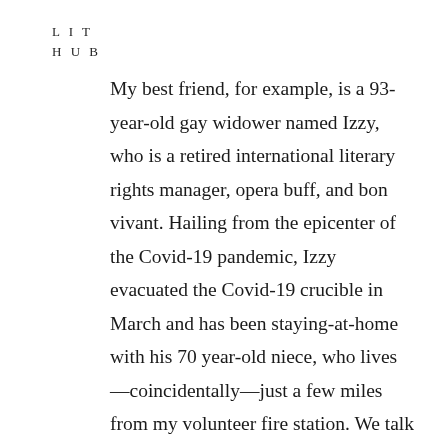LIT
HUB
My best friend, for example, is a 93-year-old gay widower named Izzy, who is a retired international literary rights manager, opera buff, and bon vivant. Hailing from the epicenter of the Covid-19 pandemic, Izzy evacuated the Covid-19 crucible in March and has been staying-at-home with his 70 year-old niece, who lives—coincidentally—just a few miles from my volunteer fire station. We talk every day, and Izzy is avidly interested in my work as an